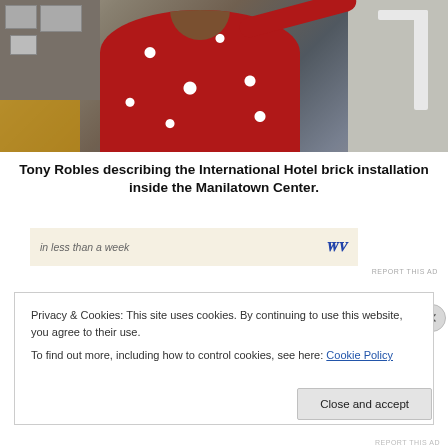[Figure (photo): A person wearing a red floral Hawaiian shirt pointing at something in what appears to be an indoor space with framed photos on the wall and railings visible.]
Tony Robles describing the International Hotel brick installation inside the Manilatown Center.
in less than a week
REPORT THIS AD
Privacy & Cookies: This site uses cookies. By continuing to use this website, you agree to their use.
To find out more, including how to control cookies, see here: Cookie Policy
Close and accept